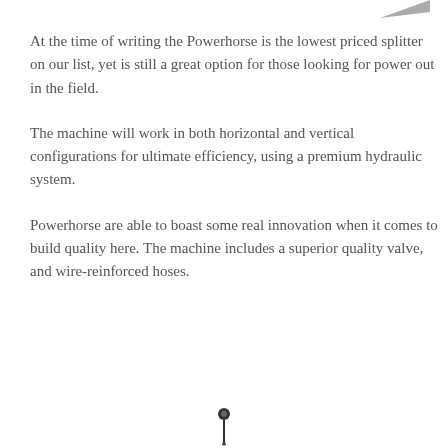[Figure (illustration): Small arrow or chevron icon at top right of page]
At the time of writing the Powerhorse is the lowest priced splitter on our list, yet is still a great option for those looking for power out in the field.
The machine will work in both horizontal and vertical configurations for ultimate efficiency, using a premium hydraulic system.
Powerhorse are able to boast some real innovation when it comes to build quality here. The machine includes a superior quality valve, and wire-reinforced hoses.
[Figure (illustration): Small pin or nail icon at bottom center of page]